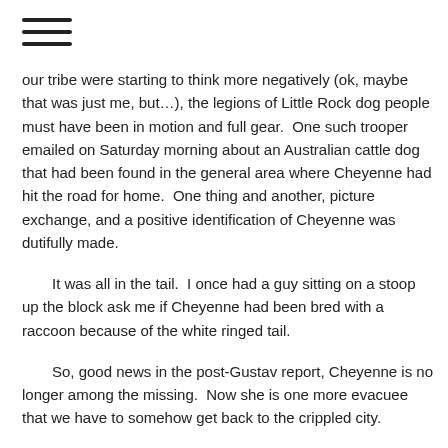≡
our tribe were starting to think more negatively (ok, maybe that was just me, but…), the legions of Little Rock dog people must have been in motion and full gear.  One such trooper emailed on Saturday morning about an Australian cattle dog that had been found in the general area where Cheyenne had hit the road for home.  One thing and another, picture exchange, and a positive identification of Cheyenne was dutifully made.
It was all in the tail.  I once had a guy sitting on a stoop up the block ask me if Cheyenne had been bred with a raccoon because of the white ringed tail.
So, good news in the post-Gustav report, Cheyenne is no longer among the missing.  Now she is one more evacuee that we have to somehow get back to the crippled city.